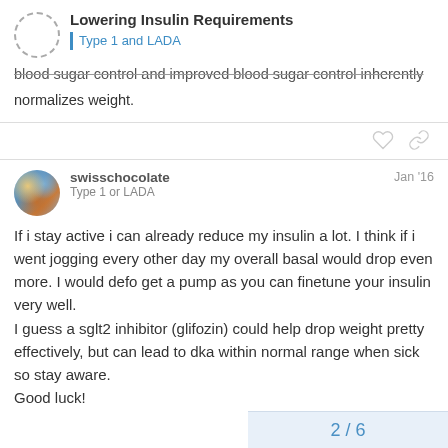Lowering Insulin Requirements | Type 1 and LADA
blood sugar control and improved blood sugar control inherently normalizes weight.
swisschocolate   Jan '16
Type 1 or LADA
If i stay active i can already reduce my insulin a lot. I think if i went jogging every other day my overall basal would drop even more. I would defo get a pump as you can finetune your insulin very well.
I guess a sglt2 inhibitor (glifozin) could help drop weight pretty effectively, but can lead to dka within normal range when sick so stay aware.
Good luck!
2 / 6